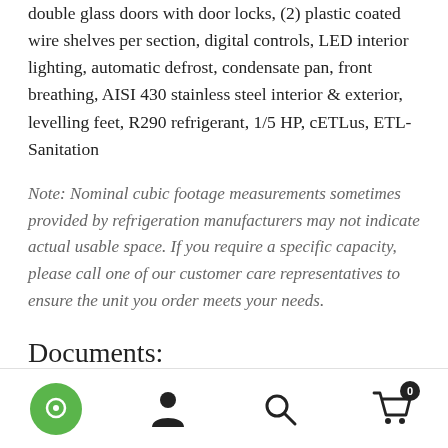double glass doors with door locks, (2) plastic coated wire shelves per section, digital controls, LED interior lighting, automatic defrost, condensate pan, front breathing, AISI 430 stainless steel interior & exterior, levelling feet, R290 refrigerant, 1/5 HP, cETLus, ETL-Sanitation
Note: Nominal cubic footage measurements sometimes provided by refrigeration manufacturers may not indicate actual usable space. If you require a specific capacity, please call one of our customer care representatives to ensure the unit you order meets your needs.
Documents:
Spec Sheet